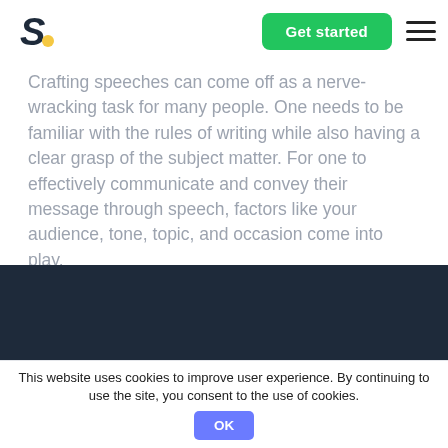S [logo] | Get started | [menu]
Crafting speeches can come off as a nerve-wracking task for many people. One needs to be familiar with the rules of writing while also having a clear grasp of the subject matter. For one to effectively communicate and convey their message through speech, factors like your audience, tone, topic, and occasion come into play.
This website uses cookies to improve user experience. By continuing to use the site, you consent to the use of cookies. OK